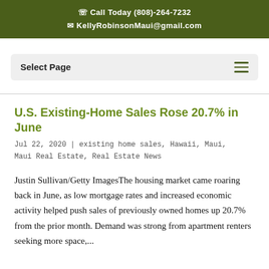Call Today (808)-264-7232
KellyRobinsonMaui@gmail.com
U.S. Existing-Home Sales Rose 20.7% in June
Jul 22, 2020 | existing home sales, Hawaii, Maui, Maui Real Estate, Real Estate News
Justin Sullivan/Getty ImagesThe housing market came roaring back in June, as low mortgage rates and increased economic activity helped push sales of previously owned homes up 20.7% from the prior month. Demand was strong from apartment renters seeking more space,...